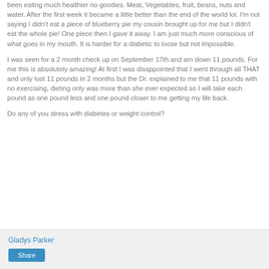been eating much healthier no goodies. Meat, Vegetables, fruit, beans, nuts and water. After the first week it became a little better than the end of the world lol. I'm not saying I didn't eat a piece of blueberry pie my cousin brought up for me but I didn't eat the whole pie! One piece then I gave it away. I am just much more conscious of what goes in my mouth. It is harder for a diabetic to loose but not impossible.
I was seen for a 2 month check up on September 17th and am down 11 pounds. For me this is absolutely amazing! At first I was disappointed that I went through all THAT and only lost 11 pounds in 2 months but the Dr. explained to me that 11 pounds with no exercising, dieting only was more than she ever expected so I will take each pound as one pound less and one pound closer to me getting my life back.
Do any of you stress with diabetes or weight control?
Gladys Parker
Share